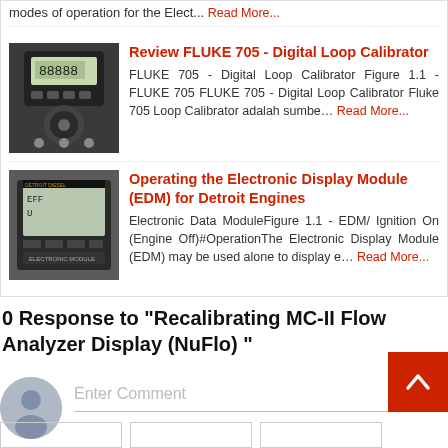modes of operation for the Elect... Read More...
Review FLUKE 705 - Digital Loop Calibrator
FLUKE 705 - Digital Loop Calibrator Figure 1.1 - FLUKE 705 FLUKE 705 - Digital Loop Calibrator Fluke 705 Loop Calibrator adalah sumbe… Read More...
Operating the Electronic Display Module (EDM) for Detroit Engines
Electronic Data ModuleFigure 1.1 - EDM/ Ignition On (Engine Off)#OperationThe Electronic Display Module (EDM) may be used alone to display e… Read More...
0 Response to "Recalibrating MC-II Flow Analyzer Display (NuFlo) "
Enter Comment